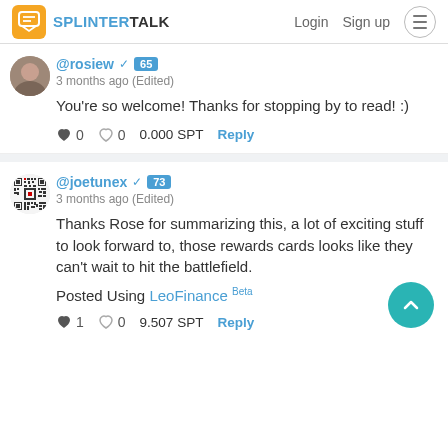SPLINTERTALK — Login  Sign up
@rosiew ✓ 65
3 months ago (Edited)
You're so welcome! Thanks for stopping by to read! :)
♥ 0  ♥ 0  0.000 SPT  Reply
@joetunex ✓ 73
3 months ago (Edited)
Thanks Rose for summarizing this, a lot of exciting stuff to look forward to, those rewards cards looks like they can't wait to hit the battlefield.
Posted Using LeoFinance Beta
♥ 1  ♥ 0  9.507 SPT  Reply